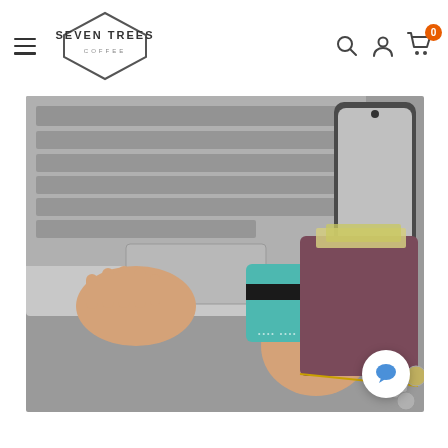Seven Trees Coffee — Navigation bar with hamburger menu, logo, search, account, and cart icons
[Figure (photo): Person holding a teal credit card in one hand while typing on a laptop keyboard; a brown zippered wallet with cash, a smartphone, and loose coins are visible on the desk surface — overhead/top-down view.]